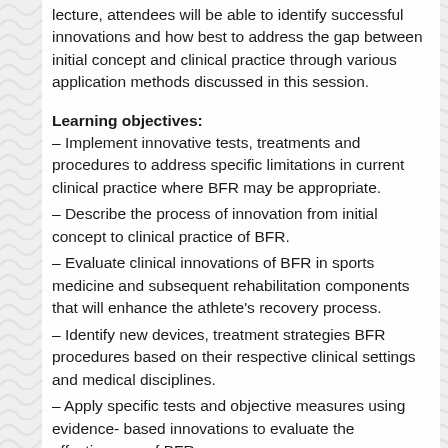lecture, attendees will be able to identify successful innovations and how best to address the gap between initial concept and clinical practice through various application methods discussed in this session.
Learning objectives:
– Implement innovative tests, treatments and procedures to address specific limitations in current clinical practice where BFR may be appropriate.
– Describe the process of innovation from initial concept to clinical practice of BFR.
– Evaluate clinical innovations of BFR in sports medicine and subsequent rehabilitation components that will enhance the athlete's recovery process.
– Identify new devices, treatment strategies BFR procedures based on their respective clinical settings and medical disciplines.
– Apply specific tests and objective measures using evidence- based innovations to evaluate the effectiveness of BFR.